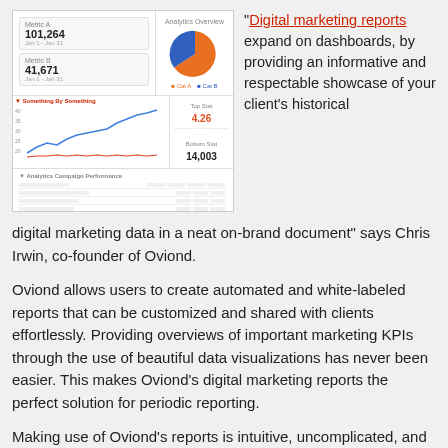[Figure (screenshot): Screenshot of a digital marketing dashboard/report showing KPI numbers, a pie chart (orange and blue), a line chart with two lines (blue trending up, red flat), and a data table.]
"Digital marketing reports expand on dashboards, by providing an informative and respectable showcase of your client's historical digital marketing data in a neat on-brand document" says Chris Irwin, co-founder of Oviond.
Oviond allows users to create automated and white-labeled reports that can be customized and shared with clients effortlessly. Providing overviews of important marketing KPIs through the use of beautiful data visualizations has never been easier. This makes Oviond's digital marketing reports the perfect solution for periodic reporting.
Making use of Oviond's reports is intuitive, uncomplicated, and clean in this feature-packed digital marketing monitoring and reporting solution. To learn more, visit Oviond. Browse Oviond's current report templates at